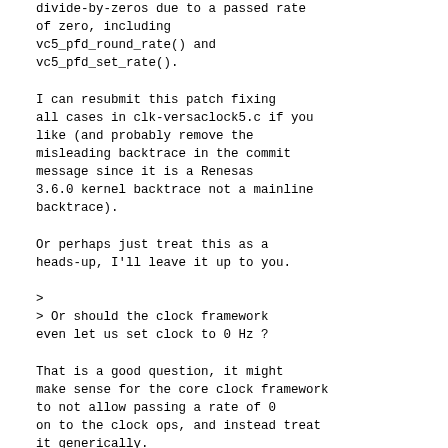Actually I if its more potential divide-by-zeros due to a passed rate
of zero, including
vc5_pfd_round_rate() and
vc5_pfd_set_rate().
I can resubmit this patch fixing
all cases in clk-versaclock5.c if you
like (and probably remove the
misleading backtrace in the commit
message since it is a Renesas
3.6.0 kernel backtrace not a mainline
backtrace).
Or perhaps just treat this as a
heads-up, I'll leave it up to you.
>
> Or should the clock framework
even let us set clock to 0 Hz ?
That is a good question, it might
make sense for the core clock framework
to not allow passing a rate of 0
on to the clock ops, and instead treat
it generically.